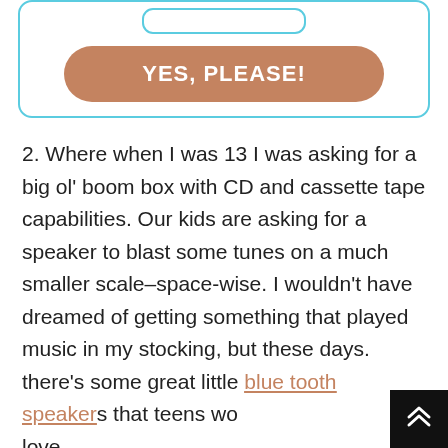[Figure (other): A card UI element with a teal/cyan border and rounded corners, containing a 'YES, PLEASE!' button in brownish-tan color with white bold text.]
2. Where when I was 13 I was asking for a big ol' boom box with CD and cassette tape capabilities. Our kids are asking for a speaker to blast some tunes on a much smaller scale–space-wise. I wouldn't have dreamed of getting something that played music in my stocking, but these days. there's some great little blue tooth speakers that teens would love.